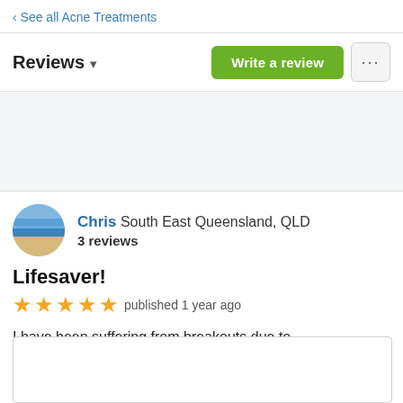‹ See all Acne Treatments
Reviews ▾
Write a review
Chris South East Queensland, QLD
3 reviews
Lifesaver!
★★★★★ published 1 year ago
I have been suffering from breakouts due to hormonal imbalance. This moisturiser aids me in